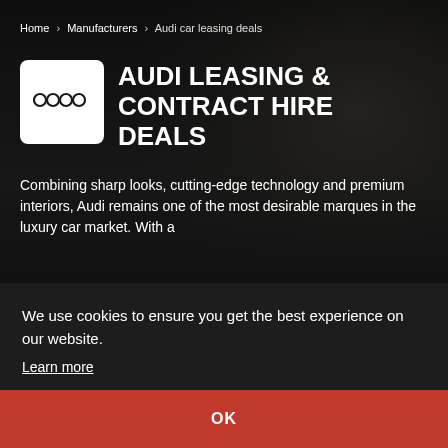Home > Manufacturers > Audi car leasing deals
AUDI LEASING & CONTRACT HIRE DEALS
Combining sharp looks, cutting-edge technology and premium interiors, Audi remains one of the most desirable marques in the luxury car market. With a
We use cookies to ensure you get the best experience on our website.
Learn more
OK